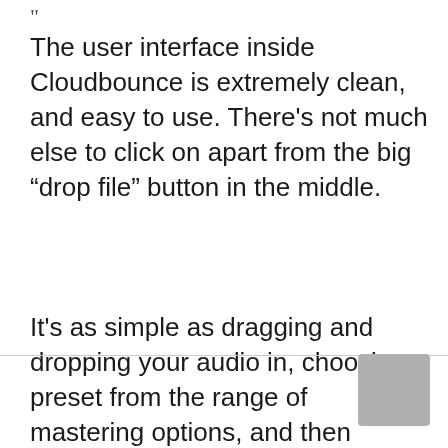The user interface inside Cloudbounce is extremely clean, and easy to use. There's not much else to click on apart from the big “drop file” button in the middle.
It's as simple as dragging and dropping your audio in, choosing a preset from the range of mastering options, and then running the master.